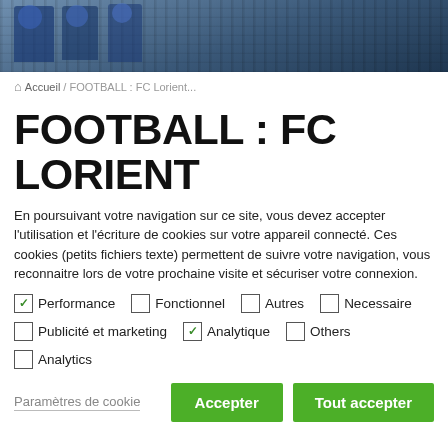[Figure (photo): Sports photo banner showing football players or fans behind a fence/net structure, blue and dark tones]
🏠 Accueil / FOOTBALL : FC Lorient...
FOOTBALL : FC LORIENT
En poursuivant votre navigation sur ce site, vous devez accepter l'utilisation et l'écriture de cookies sur votre appareil connecté. Ces cookies (petits fichiers texte) permettent de suivre votre navigation, vous reconnaitre lors de votre prochaine visite et sécuriser votre connexion.
✓ Performance  □ Fonctionnel  □ Autres  □ Necessaire
□ Publicité et marketing  ✓ Analytique  □ Others
□ Analytics
Paramètres de cookie  Accepter  Tout accepter